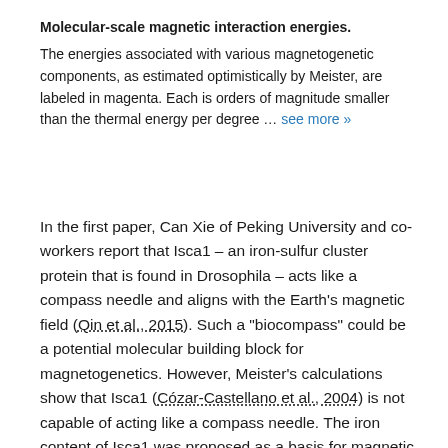Molecular-scale magnetic interaction energies. The energies associated with various magnetogenetic components, as estimated optimistically by Meister, are labeled in magenta. Each is orders of magnitude smaller than the thermal energy per degree … see more »
In the first paper, Can Xie of Peking University and co-workers report that Isca1 – an iron-sulfur cluster protein that is found in Drosophila – acts like a compass needle and aligns with the Earth's magnetic field (Qin et al., 2015). Such a "biocompass" could be a potential molecular building block for magnetogenetics. However, Meister's calculations show that Isca1 (Cózar-Castellano et al., 2004) is not capable of acting like a compass needle. The iron content of Isca1 was proposed as a basis for magnetic effects. Certain configurations of iron give rise to molecular-scale